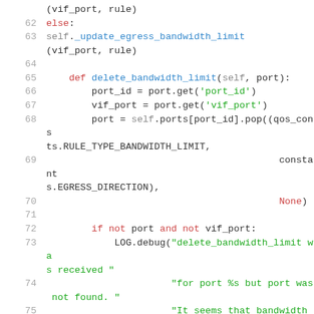[Figure (screenshot): Python source code snippet showing lines 62-77 of a network bandwidth limit management class. Lines include else branch, self._update_egress_bandwidth_limit call, delete_bandwidth_limit method definition, port operations, conditional check, LOG.debug call with string messages, and return statement.]